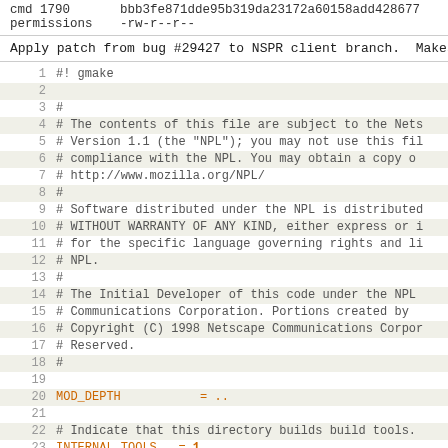cmd 1790    bbb3fe871dde95b319da23172a60158add428677
permissions    -rw-r--r--
Apply patch from bug #29427 to NSPR client branch.  Makes 'm
1  #! gmake
2  
3  #
4  # The contents of this file are subject to the Nets
5  # Version 1.1 (the "NPL"); you may not use this fil
6  # compliance with the NPL.  You may obtain a copy o
7  # http://www.mozilla.org/NPL/
8  #
9  # Software distributed under the NPL is distributed
10 # WITHOUT WARRANTY OF ANY KIND, either express or i
11 # for the specific language governing rights and li
12 # NPL.
13 #
14 # The Initial Developer of this code under the NPL
15 # Communications Corporation.  Portions created by
16 # Copyright (C) 1998 Netscape Communications Corpor
17 # Reserved.
18 #
19
20 MOD_DEPTH           = ..
21
22 # Indicate that this directory builds build tools.
23 INTERNAL_TOOLS   = 1
24
25 include $(MOD_DEPTH)/config/config.mk